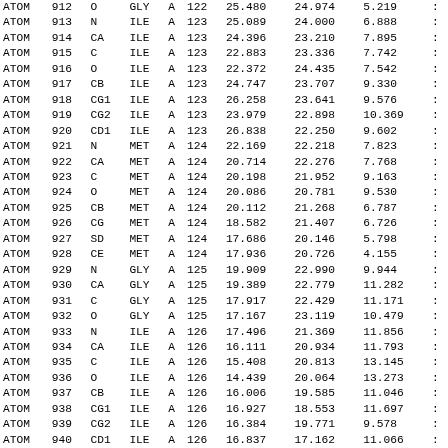| record | serial | name | resName | chainID | resSeq | x | y | z | ... |
| --- | --- | --- | --- | --- | --- | --- | --- | --- | --- |
| ATOM | 912 | O | GLY | A | 122 | 25.480 | 24.974 | 5.219 | ... |
| ATOM | 913 | N | ILE | A | 123 | 25.089 | 24.000 | 6.888 | ... |
| ATOM | 914 | CA | ILE | A | 123 | 24.396 | 23.210 | 7.895 | ... |
| ATOM | 915 | C | ILE | A | 123 | 22.883 | 23.336 | 7.742 | ... |
| ATOM | 916 | O | ILE | A | 123 | 22.372 | 24.435 | 7.542 | ... |
| ATOM | 917 | CB | ILE | A | 123 | 24.747 | 23.707 | 9.330 | ... |
| ATOM | 918 | CG1 | ILE | A | 123 | 26.258 | 23.641 | 9.576 | ... |
| ATOM | 919 | CG2 | ILE | A | 123 | 23.979 | 22.898 | 10.369 | ... |
| ATOM | 920 | CD1 | ILE | A | 123 | 26.838 | 22.250 | 9.602 | ... |
| ATOM | 921 | N | MET | A | 124 | 22.169 | 22.218 | 7.823 | ... |
| ATOM | 922 | CA | MET | A | 124 | 20.714 | 22.276 | 7.768 | ... |
| ATOM | 923 | C | MET | A | 124 | 20.198 | 21.952 | 9.163 | ... |
| ATOM | 924 | O | MET | A | 124 | 20.086 | 20.781 | 9.530 | ... |
| ATOM | 925 | CB | MET | A | 124 | 20.112 | 21.268 | 6.787 | ... |
| ATOM | 926 | CG | MET | A | 124 | 18.582 | 21.407 | 6.726 | ... |
| ATOM | 927 | SD | MET | A | 124 | 17.686 | 20.146 | 5.798 | ... |
| ATOM | 928 | CE | MET | A | 124 | 17.936 | 20.726 | 4.155 | ... |
| ATOM | 929 | N | GLY | A | 125 | 19.909 | 22.990 | 9.944 | ... |
| ATOM | 930 | CA | GLY | A | 125 | 19.389 | 22.779 | 11.282 | ... |
| ATOM | 931 | C | GLY | A | 125 | 17.917 | 22.429 | 11.171 | ... |
| ATOM | 932 | O | GLY | A | 125 | 17.167 | 23.119 | 10.479 | ... |
| ATOM | 933 | N | ILE | A | 126 | 17.496 | 21.369 | 11.856 | ... |
| ATOM | 934 | CA | ILE | A | 126 | 16.111 | 20.934 | 11.793 | ... |
| ATOM | 935 | C | ILE | A | 126 | 15.408 | 20.813 | 13.145 | ... |
| ATOM | 936 | O | ILE | A | 126 | 14.439 | 20.064 | 13.273 | ... |
| ATOM | 937 | CB | ILE | A | 126 | 16.006 | 19.585 | 11.046 | ... |
| ATOM | 938 | CG1 | ILE | A | 126 | 16.927 | 18.553 | 11.697 | ... |
| ATOM | 939 | CG2 | ILE | A | 126 | 16.384 | 19.771 | 9.578 | ... |
| ATOM | 940 | CD1 | ILE | A | 126 | 16.837 | 17.162 | 11.066 | ... |
| ATOM | 941 | N | GLY | A | 127 | 15.888 | 21.555 | 14.140 | ... |
| ATOM | 942 | CA | GLY | A | 127 | 15.289 | 21.526 | 15.469 | ... |